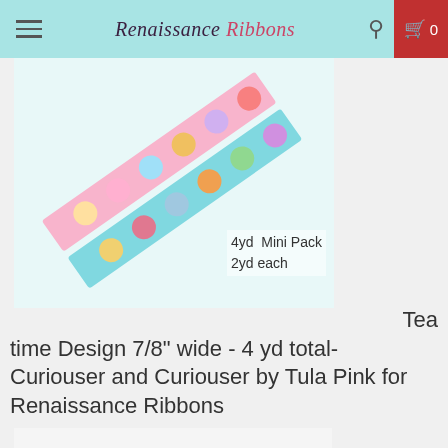Renaissance Ribbons
[Figure (photo): Two decorative ribbons with colorful tea cup designs on light pink and light blue backgrounds, arranged diagonally. Text overlay reads: 4yd Mini Pack 2yd each]
Tea time Design 7/8" wide - 4 yd total- Curiouser and Curiouser by Tula Pink for Renaissance Ribbons
[Figure (photo): Two decorative ribbons featuring Alice in Wonderland / Curiouser and Curiouser designs by Tula Pink, on colorful backgrounds with the Curiouser and Curiouser logo in hot pink script text on the left.]